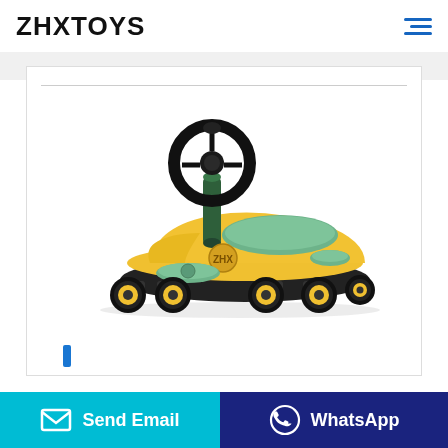ZHXTOYS
[Figure (photo): Yellow and green children's swing car / wiggle car ride-on toy with a black steering wheel, green seat pad, green footrest pads, and four yellow-wheeled black axles.]
Send Email
WhatsApp